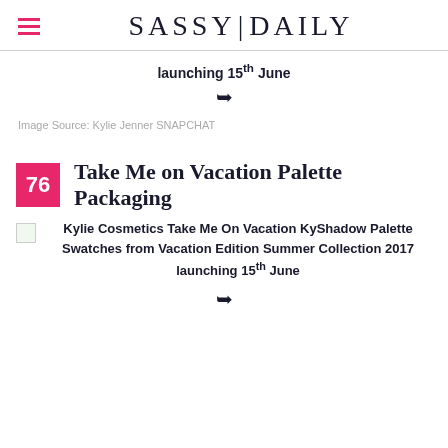SASSY|DAILY
launching 15th June
Image Source: Kylie Jenner SNAPCHAT
76 Take Me on Vacation Palette Packaging
Kylie Cosmetics Take Me On Vacation KyShadow Palette Swatches from Vacation Edition Summer Collection 2017 launching 15th June